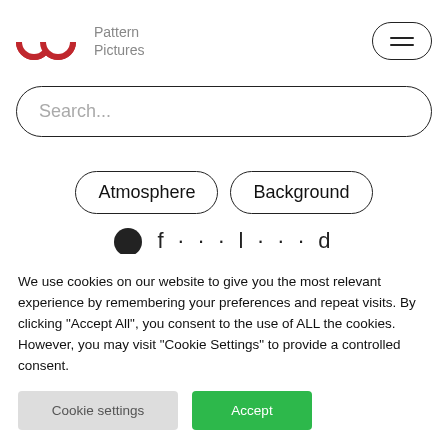[Figure (logo): Pattern Pictures logo with red stylized double-arch icon and gray text 'Pattern Pictures']
Search...
Atmosphere
Background
We use cookies on our website to give you the most relevant experience by remembering your preferences and repeat visits. By clicking "Accept All", you consent to the use of ALL the cookies. However, you may visit "Cookie Settings" to provide a controlled consent.
Cookie settings
Accept